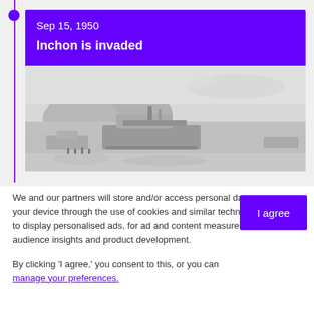Sep 15, 1950 — Inchon is invaded
[Figure (photo): Black and white historical photograph of military landing ships/boats on a beach near Inchon during the Korean War invasion, with hills visible in the background.]
We and our partners will store and/or access personal data on your device through the use of cookies and similar technologies, to display personalised ads, for ad and content measurement, audience insights and product development.

By clicking 'I agree,' you consent to this, or you can manage your preferences.